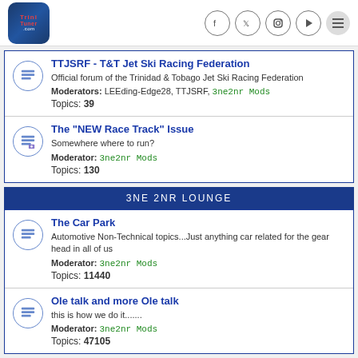TriniTuner.com - header with logo and social icons
TTJSRF - T&T Jet Ski Racing Federation
Official forum of the Trinidad & Tobago Jet Ski Racing Federation
Moderators: LEEding-Edge28, TTJSRF, 3ne2nr Mods
Topics: 39
The "NEW Race Track" Issue
Somewhere where to run?
Moderator: 3ne2nr Mods
Topics: 130
3NE 2NR LOUNGE
The Car Park
Automotive Non-Technical topics...Just anything car related for the gear head in all of us
Moderator: 3ne2nr Mods
Topics: 11440
Ole talk and more Ole talk
this is how we do it.......
Moderator: 3ne2nr Mods
Topics: 47105